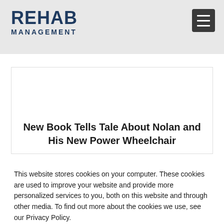REHAB MANAGEMENT
New Book Tells Tale About Nolan and His New Power Wheelchair
This website stores cookies on your computer. These cookies are used to improve your website and provide more personalized services to you, both on this website and through other media. To find out more about the cookies we use, see our Privacy Policy.
Accept